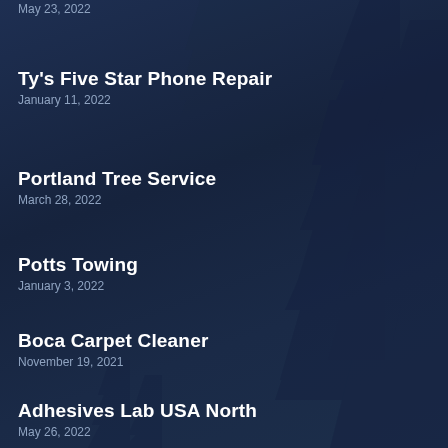May 23, 2022
Ty's Five Star Phone Repair
January 11, 2022
Portland Tree Service
March 28, 2022
Potts Towing
January 3, 2022
Boca Carpet Cleaner
November 19, 2021
Adhesives Lab USA North
May 26, 2022